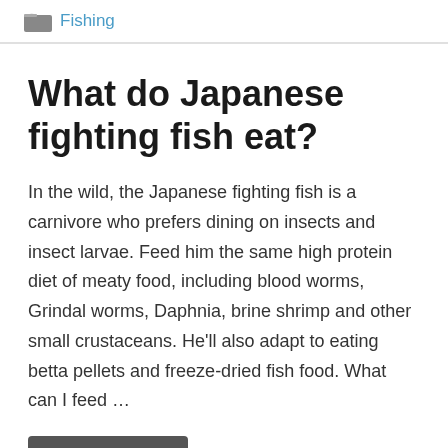Fishing
What do Japanese fighting fish eat?
In the wild, the Japanese fighting fish is a carnivore who prefers dining on insects and insect larvae. Feed him the same high protein diet of meaty food, including blood worms, Grindal worms, Daphnia, brine shrimp and other small crustaceans. He'll also adapt to eating betta pellets and freeze-dried fish food. What can I feed …
Read more